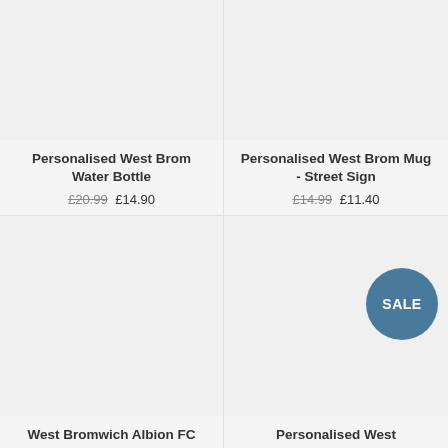Personalised West Brom Water Bottle
£20.99 £14.90
Personalised West Brom Mug - Street Sign
£14.99 £11.40
[Figure (other): SALE badge circle]
West Bromwich Albion FC
Personalised West